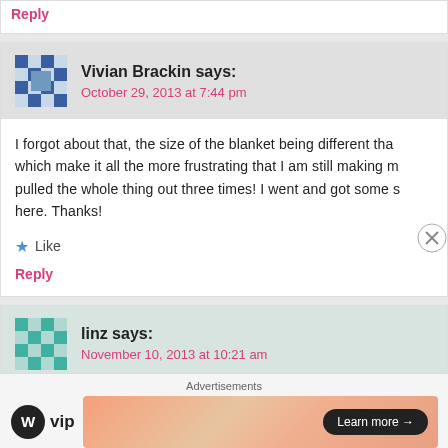Reply
Vivian Brackin says:
October 29, 2013 at 7:44 pm
I forgot about that, the size of the blanket being different tha... which make it all the more frustrating that I am still making m... pulled the whole thing out three times! I went and got some s... here. Thanks!
Like
Reply
linz says:
November 10, 2013 at 10:21 am
Hi love this blanket and the colours. Don't suppose you k...
Advertisements